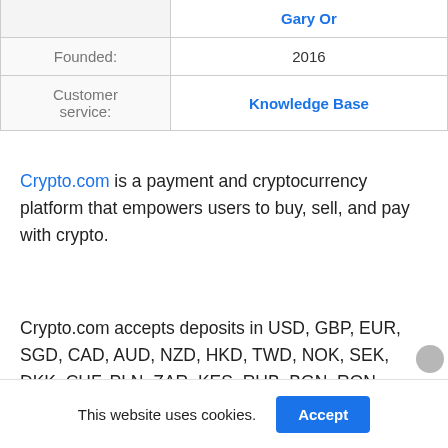|  |  |
| --- | --- |
|  | Gary Or |
| Founded: | 2016 |
| Customer service: | Knowledge Base |
Crypto.com is a payment and cryptocurrency platform that empowers users to buy, sell, and pay with crypto.
Crypto.com accepts deposits in USD, GBP, EUR, SGD, CAD, AUD, NZD, HKD, TWD, NOK, SEK, DKK, CHF, PLN, ZAR, KES, RUB, BGN, RON,
This website uses cookies.